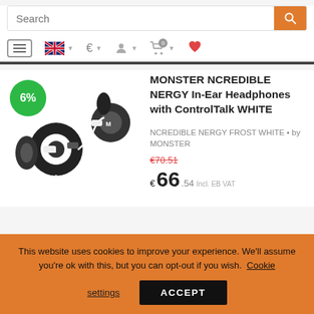[Figure (screenshot): E-commerce website screenshot showing search bar with orange search button, navigation bar with hamburger menu, UK flag language selector, euro currency selector, account icon, cart icon with badge showing 0, and heart wishlist icon. Product listing shows Monster Ncredible Nergy In-Ear Headphones with ControlTalk WHITE with 6% discount badge, product image, original price €70.51 crossed out, current price €66.54. Cookie consent banner at bottom on orange background.]
MONSTER NCREDIBLE NERGY In-Ear Headphones with ControlTalk WHITE
NCREDIBLE NERGY FROST WHITE • by MONSTER
€70.51
€66.54
6%
This website uses cookies to improve your experience. We'll assume you're ok with this, but you can opt-out if you wish. Cookie settings
ACCEPT